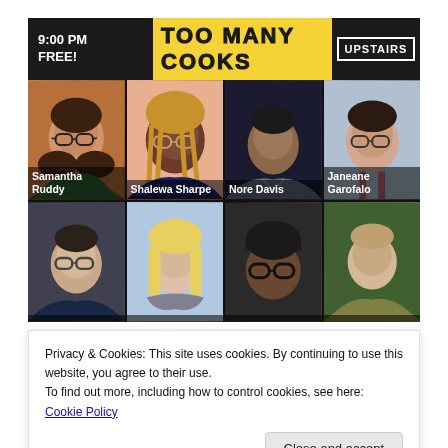[Figure (other): Event poster for 'Too Many Cooks' comedy show. Header shows '9:00 PM FREE!' on the left, 'TOO MANY COOKS' title in yellow band, 'UPSTAIRS' location on the right. Below is a 4x2 grid of comedian headshots: Samantha Ruddy, Shalewa Sharpe, Nore Davis, Janeane Garofalo (top row), and four more (bottom row, unlabeled in visible area).]
Privacy & Cookies: This site uses cookies. By continuing to use this website, you agree to their use.
To find out more, including how to control cookies, see here: Cookie Policy
for College Humor, Reductress, Someecards)—